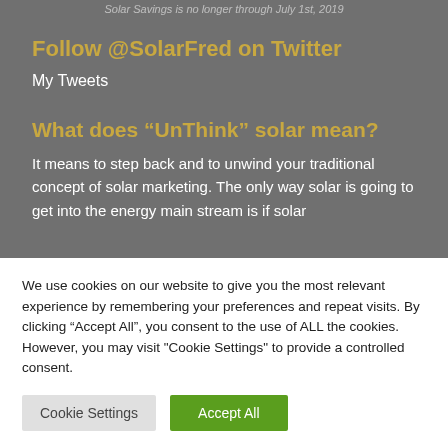Solar Savings is no longer through July 1st, 2019
Follow @SolarFred on Twitter
My Tweets
What does “UnThink” solar mean?
It means to step back and to unwind your traditional concept of solar marketing. The only way solar is going to get into the energy main stream is if solar
We use cookies on our website to give you the most relevant experience by remembering your preferences and repeat visits. By clicking “Accept All”, you consent to the use of ALL the cookies. However, you may visit "Cookie Settings" to provide a controlled consent.
Cookie Settings
Accept All